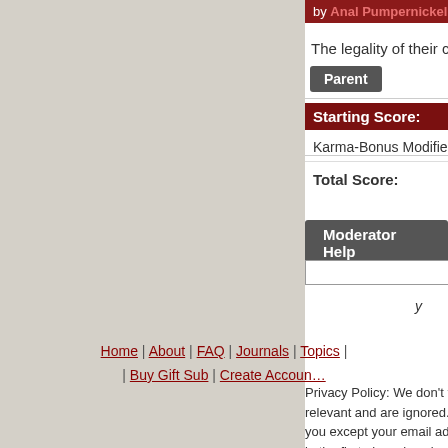by Anal Pumpernickel (776) on Thursday Novemb…
The legality of their censorship is not in qu…
Parent
Starting Score:
Karma-Bonus Modifier
Total Score:
Moderator Help
Search
y
Home | About | FAQ | Journals | Topics | … | Buy Gift Sub | Create Accoun…
Privacy Policy: We don't track anyone except on… relevant and are ignored. We don't collect any p… you except your email address, which: you can c… in the first place, is only used to contact you if n… with nobody.